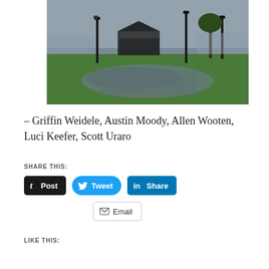[Figure (photo): Outdoor park scene with wet pavement, green grass, a gazebo/pavilion structure in the background, lampposts, trees, and cloudy sky. Appears to be taken after rain.]
– Griffin Weidele, Austin Moody, Allen Wooten, Luci Keefer, Scott Uraro
SHARE THIS:
LIKE THIS: